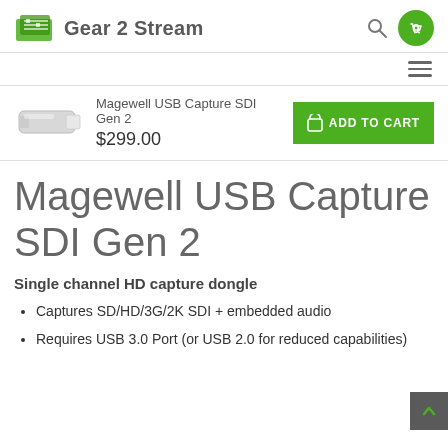Gear 2 Stream
[Figure (screenshot): Product thumbnail: Magewell USB Capture SDI Gen 2 device, small white USB dongle]
Magewell USB Capture SDI Gen 2
$299.00
Magewell USB Capture SDI Gen 2
Single channel HD capture dongle
Captures SD/HD/3G/2K SDI + embedded audio
Requires USB 3.0 Port (or USB 2.0 for reduced capabilities)